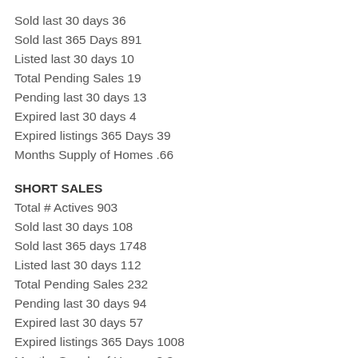Sold last 30 days 36
Sold last 365 Days 891
Listed last 30 days 10
Total Pending Sales 19
Pending last 30 days 13
Expired last 30 days 4
Expired listings 365 Days 39
Months Supply of Homes .66
SHORT SALES
Total # Actives 903
Sold last 30 days 108
Sold last 365 days 1748
Listed last 30 days 112
Total Pending Sales 232
Pending last 30 days 94
Expired last 30 days 57
Expired listings 365 Days 1008
Months Supply of Homes 8.3